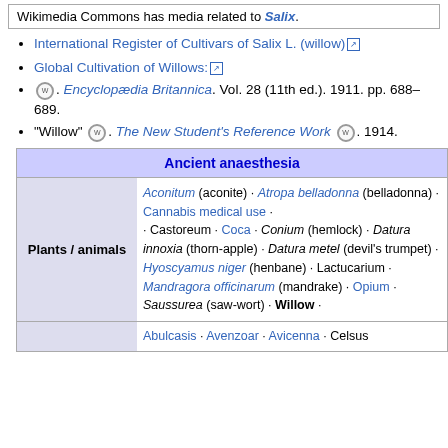Wikimedia Commons has media related to Salix.
International Register of Cultivars of Salix L. (willow)
Global Cultivation of Willows:
"Willow". Encyclopædia Britannica. Vol. 28 (11th ed.). 1911. pp. 688–689.
"Willow". The New Student's Reference Work. 1914.
| Ancient anaesthesia |
| --- |
| Plants / animals | Aconitum (aconite) · Atropa belladonna (belladonna) · Cannabis medical use · · Castoreum · Coca · Conium (hemlock) · Datura innoxia (thorn-apple) · Datura metel (devil's trumpet) · Hyoscyamus niger (henbane) · Lactucarium · Mandragora officinarum (mandrake) · Opium · Saussurea (saw-wort) · Willow · |
|  | Abulcasis · Avenzoar · Avicenna · Celsus |